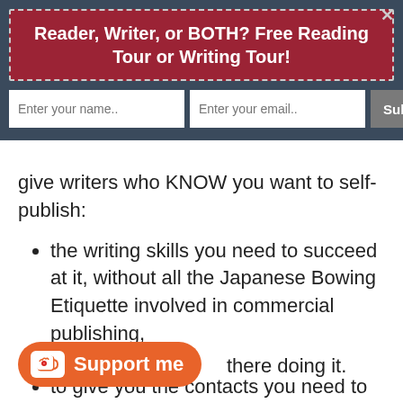Reader, Writer, or BOTH? Free Reading Tour or Writing Tour!
give writers who KNOW you want to self-publish:
the writing skills you need to succeed at it, without all the Japanese Bowing Etiquette involved in commercial publishing,
to give you the contacts you need to publish your own work professionally,
there doing it.